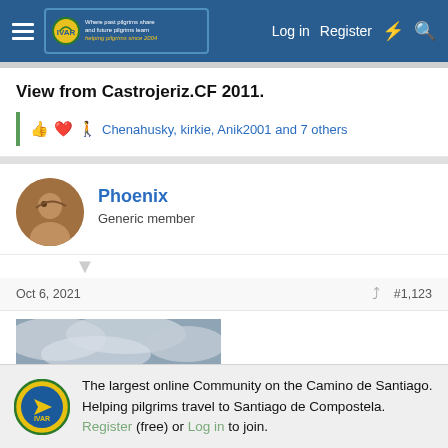Log in  Register
View from Castrojeriz.CF 2011.
👍❤️🚶 Chenahusky, kirkie, Anik2001 and 7 others
Phoenix
Generic member
Oct 6, 2021   #1,123
[Figure (photo): Landscape photo showing a dirt path through scrubland under a cloudy sky, taken from Castrojeriz area.]
The largest online Community on the Camino de Santiago. Helping pilgrims travel to Santiago de Compostela. Register (free) or Log in to join.